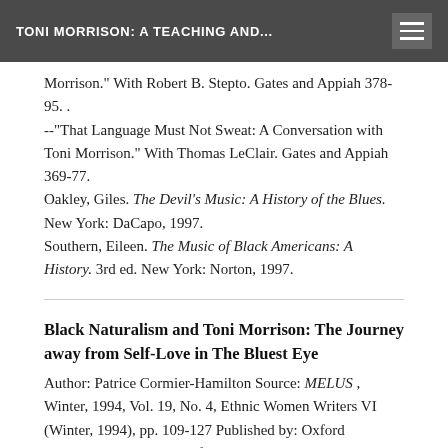TONI MORRISON: A TEACHING AND...
Morrison." With Robert B. Stepto. Gates and Appiah 378-95. . --"That Language Must Not Sweat: A Conversation with Toni Morrison." With Thomas LeClair. Gates and Appiah 369-77. Oakley, Giles. The Devil's Music: A History of the Blues. New York: DaCapo, 1997. Southern, Eileen. The Music of Black Americans: A History. 3rd ed. New York: Norton, 1997.
Black Naturalism and Toni Morrison: The Journey away from Self-Love in The Bluest Eye
Author: Patrice Cormier-Hamilton Source: MELUS , Winter, 1994, Vol. 19, No. 4, Ethnic Women Writers VI (Winter, 1994), pp. 109-127 Published by: Oxford University Press on behalf